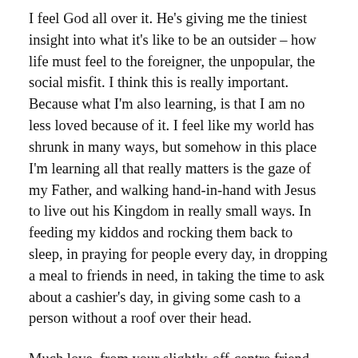I feel God all over it. He's giving me the tiniest insight into what it's like to be an outsider – how life must feel to the foreigner, the unpopular, the social misfit. I think this is really important. Because what I'm also learning, is that I am no less loved because of it. I feel like my world has shrunk in many ways, but somehow in this place I'm learning all that really matters is the gaze of my Father, and walking hand-in-hand with Jesus to live out his Kingdom in really small ways. In feeding my kiddos and rocking them back to sleep, in praying for people every day, in dropping a meal to friends in need, in taking the time to ask about a cashier's day, in giving some cash to a person without a roof over their head.
Much love, from your slightly-off-centre friend,